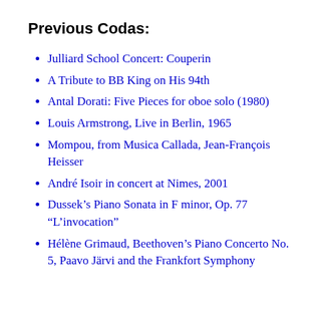Previous Codas:
Julliard School Concert: Couperin
A Tribute to BB King on His 94th
Antal Dorati: Five Pieces for oboe solo (1980)
Louis Armstrong, Live in Berlin, 1965
Mompou, from Musica Callada, Jean-François Heisser
André Isoir in concert at Nimes, 2001
Dussek's Piano Sonata in F minor, Op. 77 “L’invocation”
Hélène Grimaud, Beethoven’s Piano Concerto No. 5, Paavo Järvi and the Frankfort Symphony